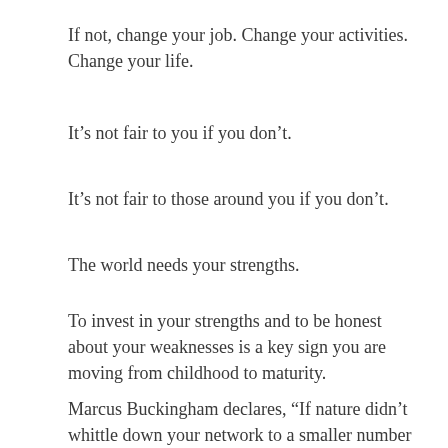If not, change your job. Change your activities. Change your life.
It’s not fair to you if you don’t.
It’s not fair to those around you if you don’t.
The world needs your strengths.
To invest in your strengths and to be honest about your weaknesses is a key sign you are moving from childhood to maturity.
Marcus Buckingham declares, “If nature didn’t whittle down your network to a smaller number of strongly forged connections, you would never become an adult.